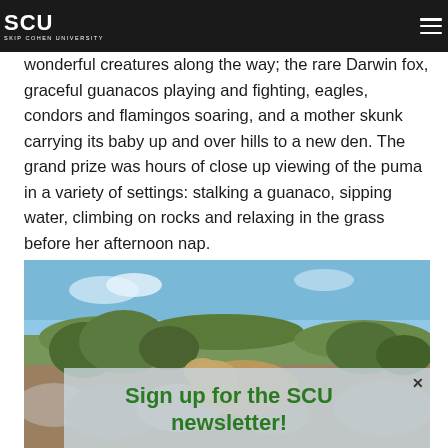SCU - Skip Cohen University
wonderful creatures along the way; the rare Darwin fox, graceful guanacos playing and fighting, eagles, condors and flamingos soaring, and a mother skunk carrying its baby up and over hills to a new den. The grand prize was hours of close up viewing of the puma in a variety of settings: stalking a guanaco, sipping water, climbing on rocks and relaxing in the grass before her afternoon nap.
[Figure (photo): A puma resting among rocks and shrubs in a natural outdoor landscape with blue sky, with a newsletter sign-up overlay reading 'Sign up for the SCU newsletter!']